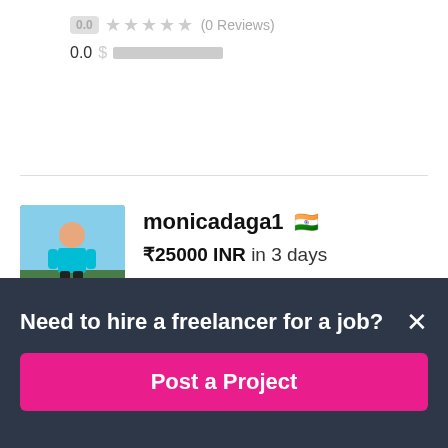0.0 ★★★★★ (0 Reviews)
0.0 $
monicadaga1 🇮🇳
₹25000 INR in 3 days
0.0 ★★★★★ (0 Reviews)
0.0 $
Need to hire a freelancer for a job?
Post a Project